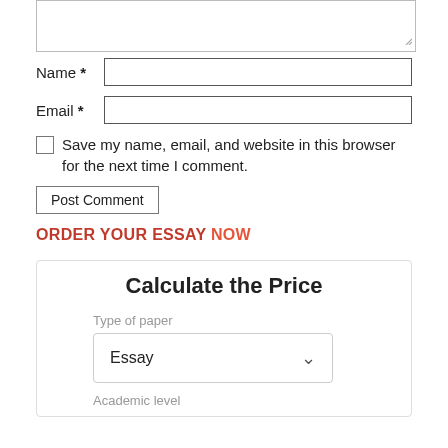[Figure (screenshot): Textarea input box for comment, partially visible at top]
Name *
Email *
Save my name, email, and website in this browser for the next time I comment.
Post Comment
ORDER YOUR ESSAY NOW
Calculate the Price
Type of paper
Essay
Academic level